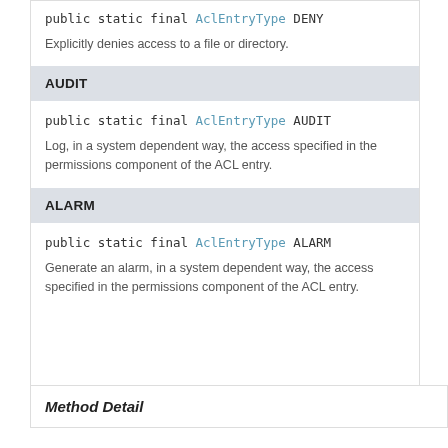public static final AclEntryType DENY
Explicitly denies access to a file or directory.
AUDIT
public static final AclEntryType AUDIT
Log, in a system dependent way, the access specified in the permissions component of the ACL entry.
ALARM
public static final AclEntryType ALARM
Generate an alarm, in a system dependent way, the access specified in the permissions component of the ACL entry.
Method Detail